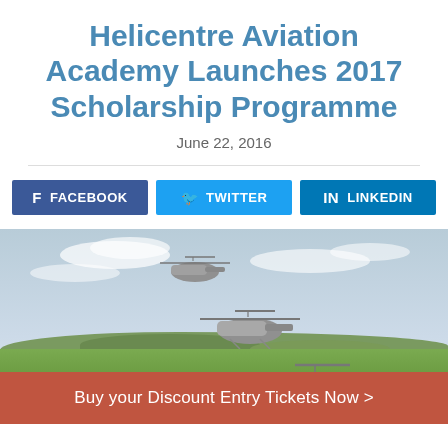Helicentre Aviation Academy Launches 2017 Scholarship Programme
June 22, 2016
[Figure (infographic): Three helicopters flying in a field with green grass and trees in the background under a cloudy sky, with a red CTA bar overlay at the bottom reading 'Buy your Discount Entry Tickets Now >']
Buy your Discount Entry Tickets Now >